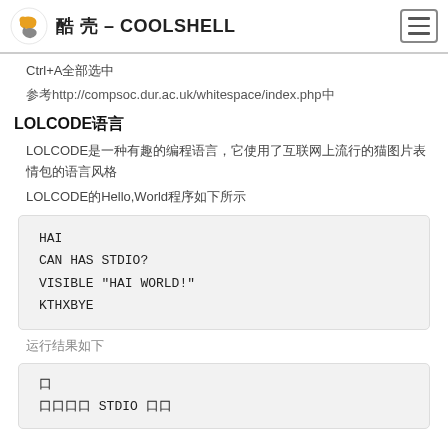酷 壳 – COOLSHELL
Ctrl+A全部选中
参考http://compsoc.dur.ac.uk/whitespace/index.php中
LOLCODE语言
LOLCODE是一种有趣的编程语言，它使用了互联网上流行的猫图片表情包的语言风格
LOLCODE的Hello,World程序如下所示
[Figure (screenshot): Code block showing LOLCODE Hello World: HAI / CAN HAS STDIO? / VISIBLE "HAI WORLD!" / KTHXBYE]
运行结果如下
[Figure (screenshot): Code block showing output with STDIO characters]